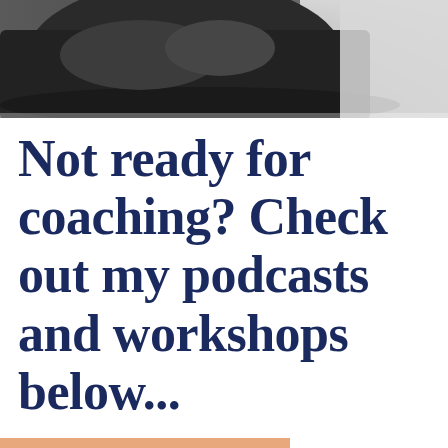[Figure (photo): Close-up photo of a person sitting, showing lower body/legs in dark clothing with a blurred background suggesting an indoor setting]
Not ready for coaching? Check out my podcasts and workshops below...
[Figure (other): Decorative orange/salmon colored horizontal bar at the bottom of the page]